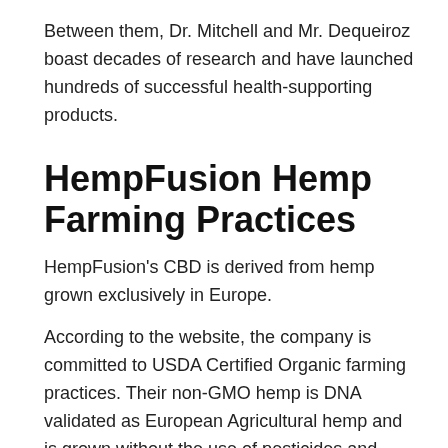Between them, Dr. Mitchell and Mr. Dequeiroz boast decades of research and have launched hundreds of successful health-supporting products.
HempFusion Hemp Farming Practices
HempFusion's CBD is derived from hemp grown exclusively in Europe.
According to the website, the company is committed to USDA Certified Organic farming practices. Their non-GMO hemp is DNA validated as European Agricultural hemp and is grown without the use of pesticides and herbicides.